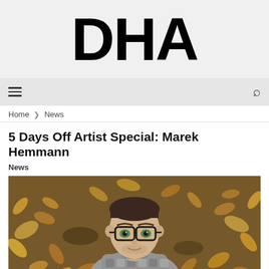DHA
≡   🔍
Home > News
5 Days Off Artist Special: Marek Hemmann
News
[Figure (photo): A young man with glasses lying on autumn leaves, looking up at the camera, wearing a grey patterned scarf/wrap.]